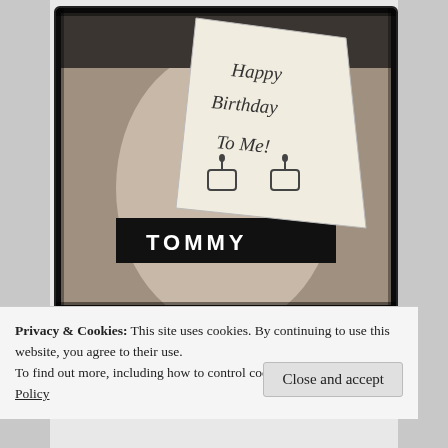[Figure (photo): Black and white photo of a person's torso wearing Tommy underwear, holding a handwritten note that says 'Happy Birthday To Me!' with drawings of birthday cakes]
Manbag #15 – The 1st Anniversary Edition
Privacy & Cookies: This site uses cookies. By continuing to use this website, you agree to their use.
To find out more, including how to control cookies, see here: Cookie Policy
Close and accept